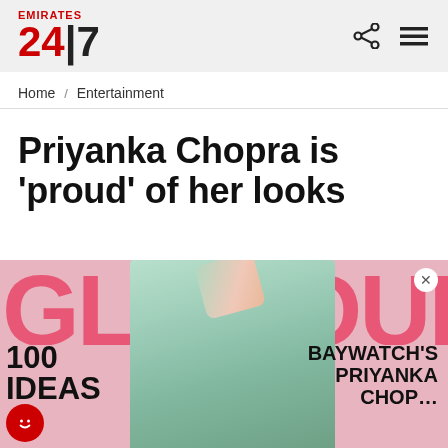EMIRATES 24|7
Home / Entertainment
Priyanka Chopra is 'proud' of her looks
[Figure (photo): Priyanka Chopra on the cover of Glamour magazine, wearing a mint green outfit with arm raised. Text on cover includes '100 IDEAS' on left and 'BAYWATCH'S PRIYANKA CHOP...' on right.]